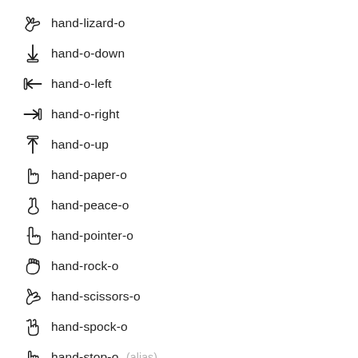hand-lizard-o
hand-o-down
hand-o-left
hand-o-right
hand-o-up
hand-paper-o
hand-peace-o
hand-pointer-o
hand-rock-o
hand-scissors-o
hand-spock-o
hand-stop-o (alias)
thumbs-down
thumbs-o-down
thumbs-o-up
thumbs-up